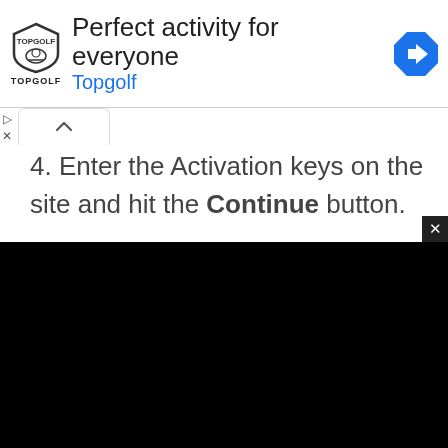[Figure (screenshot): Topgolf advertisement banner with logo, title 'Perfect activity for everyone', subtitle 'Topgolf', and navigation arrow icon]
4. Enter the Activation keys on the site and hit the Continue button.
[Figure (screenshot): Black video player area showing 'Source not found' error message with red warning icon]